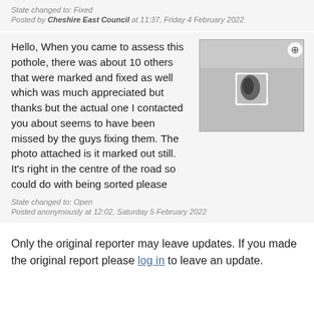State changed to: Fixed
Posted by Cheshire East Council at 11:37, Friday 4 February 2022
Hello, When you came to assess this pothole, there was about 10 others that were marked and fixed as well which was much appreciated but thanks but the actual one I contacted you about seems to have been missed by the guys fixing them. The photo attached is it marked out still. It's right in the centre of the road so could do with being sorted please
[Figure (photo): Photograph of a road surface showing a pothole marked out with a white rectangle/outline marker on grey asphalt]
State changed to: Open
Posted anonymously at 12:02, Saturday 5 February 2022
Only the original reporter may leave updates. If you made the original report please log in to leave an update.